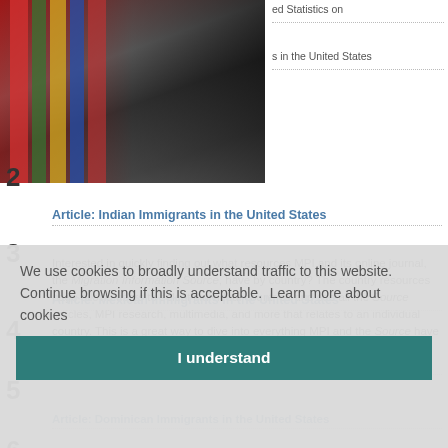[Figure (photo): Photo of colorful flags hanging in a corridor or room, partially visible on the left side of the page]
ed Statistics on
s in the United States
2
Article: Indian Immigrants in the United States
3
Interested in quickly finding out what resources MPI and its online journal, the Migration Information Source, have by country? The country resources page allows users to select individual countries and see all the Source articles, MPI research, multimedia, and more that relates to an individual country. This is a great way to dive into everything MPI and the Source have to offer by country.
4
Article: Mexican Immigrants in the United States
5
Article 2026: Filipino Immigrants in the United St...
6
Article: Dominican Immigrants in the United States
inian Immigrants in the United States
ited
We use cookies to broadly understand traffic to this website. Continue browsing if this is acceptable.  Learn more about cookies
I understand